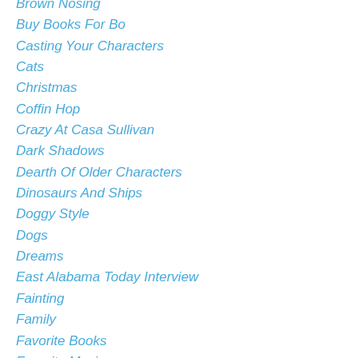Brown Nosing
Buy Books For Bo
Casting Your Characters
Cats
Christmas
Coffin Hop
Crazy At Casa Sullivan
Dark Shadows
Dearth Of Older Characters
Dinosaurs And Ships
Doggy Style
Dogs
Dreams
East Alabama Today Interview
Fainting
Family
Favorite Books
Favorite Movies
Ferrets
Fire Batons